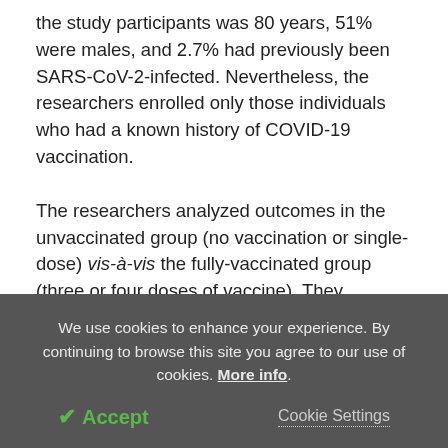the study participants was 80 years, 51% were males, and 2.7% had previously been SARS-CoV-2-infected. Nevertheless, the researchers enrolled only those individuals who had a known history of COVID-19 vaccination.

The researchers analyzed outcomes in the unvaccinated group (no vaccination or single-dose) vis-à-vis the fully-vaccinated group (three or four doses of vaccine). They excluded 172 patients who had received two vaccine doses from the analysis, as they most likely had a partial immune status.
We use cookies to enhance your experience. By continuing to browse this site you agree to our use of cookies. More info.
✔ Accept    Cookie Settings